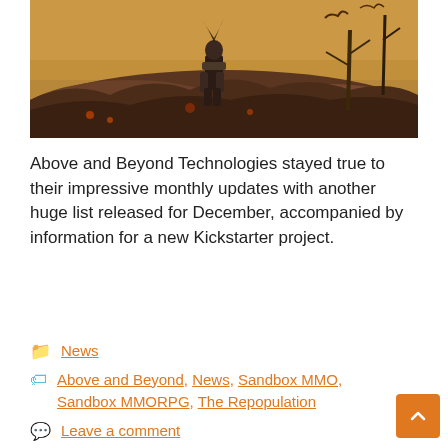[Figure (screenshot): A dark fantasy video game screenshot showing an armored character standing on rocky terrain with dead trees and a hazy orange sky in the background, with flying creatures visible.]
Above and Beyond Technologies stayed true to their impressive monthly updates with another huge list released for December, accompanied by information for a new Kickstarter project.
News
Above and Beyond, News, Sandbox MMO, Sandbox MMORPG, The Repopulation
Leave a comment